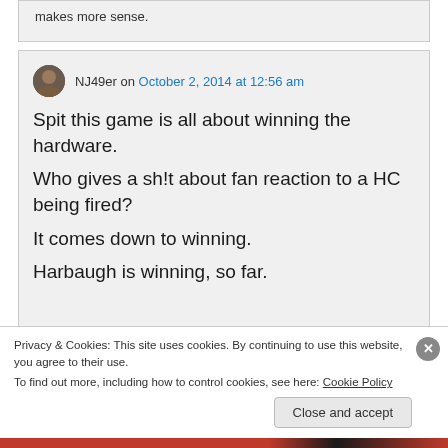makes more sense.
NJ49er on October 2, 2014 at 12:56 am
Spit this game is all about winning the hardware.
Who gives a sh!t about fan reaction to a HC being fired?
It comes down to winning.
Harbaugh is winning, so far.
Privacy & Cookies: This site uses cookies. By continuing to use this website, you agree to their use.
To find out more, including how to control cookies, see here: Cookie Policy
Close and accept